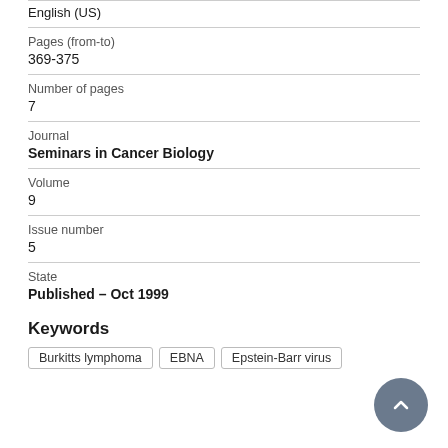English (US)
Pages (from-to)
369-375
Number of pages
7
Journal
Seminars in Cancer Biology
Volume
9
Issue number
5
State
Published – Oct 1999
Keywords
Burkitts lymphoma
EBNA
Epstein-Barr virus